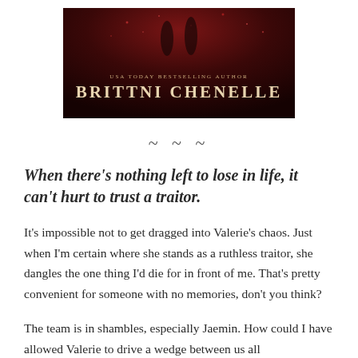[Figure (illustration): Book cover image showing USA Today Bestselling Author Brittni Chenelle, dark red/crimson background with decorative elements]
~ ~ ~
When there's nothing left to lose in life, it can't hurt to trust a traitor.
It's impossible not to get dragged into Valerie's chaos. Just when I'm certain where she stands as a ruthless traitor, she dangles the one thing I'd die for in front of me. That's pretty convenient for someone with no memories, don't you think?
The team is in shambles, especially Jaemin. How could I have allowed Valerie to drive a wedge between us all